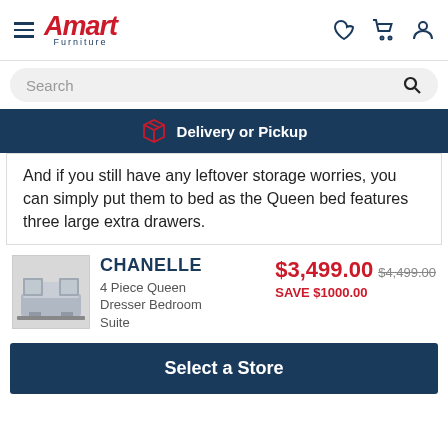Amart Furniture
Search
Delivery or Pickup
And if you still have any leftover storage worries, you can simply put them to bed as the Queen bed features three large extra drawers.
[Figure (photo): Thumbnail image of the Chanelle bedroom suite]
CHANELLE
4 Piece Queen Dresser Bedroom Suite
$3,499.00  $4,499.00
SAVE $1000.00
Select a Store